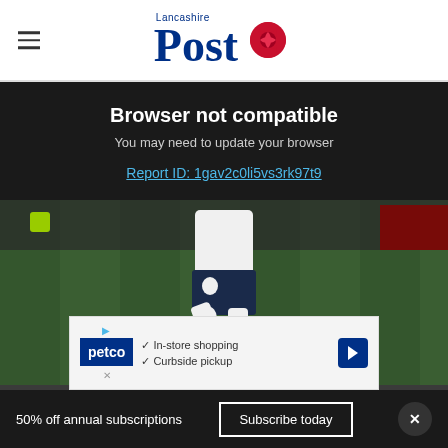Lancashire Post
Browser not compatible
You may need to update your browser
Report ID: 1gav2c0li5vs3rk97t9
[Figure (photo): Soccer/football player in white and dark blue uniform kicking or running on a grass pitch, photographed from waist down, crowd and red stadium seating visible in background]
Preston ...
[Figure (infographic): Petco advertisement banner: Petco logo with play and close icons, checkmarks for In-store shopping and Curbside pickup, blue navigation arrow icon]
50% off annual subscriptions
Subscribe today